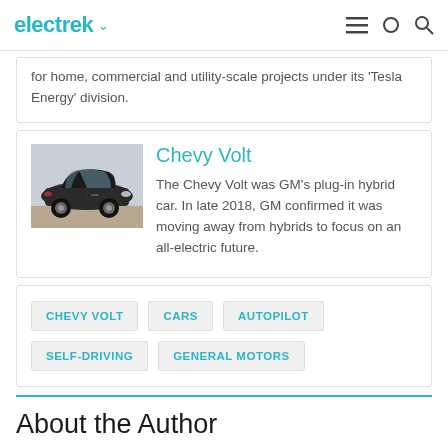electrek
for home, commercial and utility-scale projects under its 'Tesla Energy' division.
Chevy Volt
The Chevy Volt was GM's plug-in hybrid car. In late 2018, GM confirmed it was moving away from hybrids to focus on an all-electric future.
[Figure (photo): Black Chevy Volt car parked outdoors]
CHEVY VOLT
CARS
AUTOPILOT
SELF-DRIVING
GENERAL MOTORS
About the Author